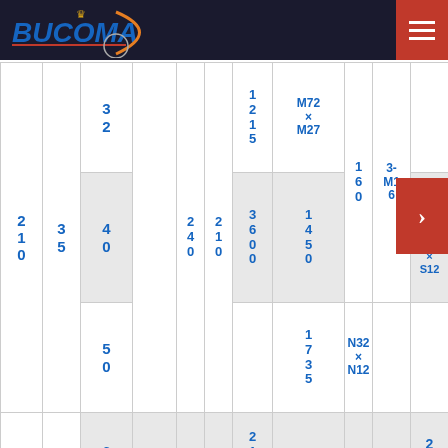BUCOMA
| 210 | 35 | 32 |  | 240 | 210 | 1215 | M72 × M27 |  |  |  |
| 210 | 35 | 40 | 3600 | 240 | 210 | 1450 | G32 × G12 S32 × S12 | 160 | 3-M16 | 178 |
| 210 | 35 | 50 |  |  |  | 1735 | N32 × N12 |  |  | 202 |
| 210 | 35 | 63 |  |  |  | 2111 |  |  |  | 234 |